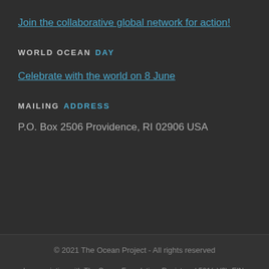Join the collaborative global network for action!
WORLD OCEAN DAY
Celebrate with the world on 8 June
MAILING ADDRESS
P.O. Box 2506 Providence, RI 02906 USA
© 2021 The Ocean Project - All rights reserved
In association with The Ocean Foundation. Registered 501(c)(3). EIN: 71-0863908
OVERVIEW   NEWS AND OPPORTUNITIES   SUPPORTERS   DONATE